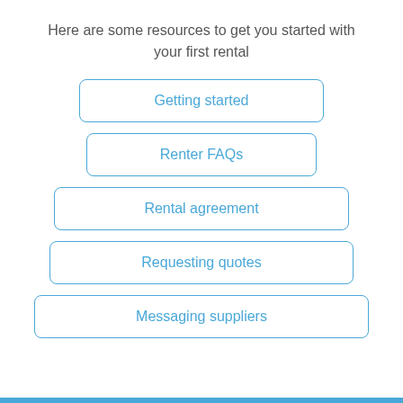Here are some resources to get you started with your first rental
Getting started
Renter FAQs
Rental agreement
Requesting quotes
Messaging suppliers